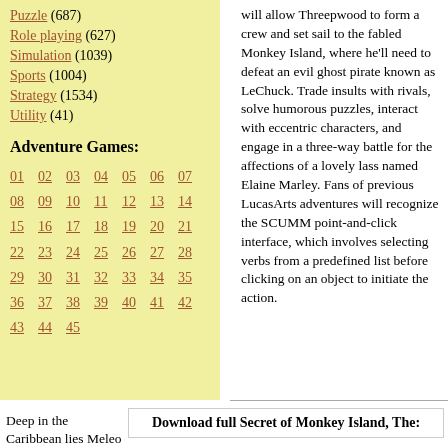Puzzle (687)
Role playing (627)
Simulation (1039)
Sports (1004)
Strategy (1534)
Utility (41)
Adventure Games:
01 02 03 04 05 06 07 08 09 10 11 12 13 14 15 16 17 18 19 20 21 22 23 24 25 26 27 28 29 30 31 32 33 34 35 36 37 38 39 40 41 42 43 44 45
will allow Threepwood to form a crew and set sail to the fabled Monkey Island, where he'll need to defeat an evil ghost pirate known as LeChuck. Trade insults with rivals, solve humorous puzzles, interact with eccentric characters, and engage in a three-way battle for the affections of a lovely lass named Elaine Marley. Fans of previous LucasArts adventures will recognize the SCUMM point-and-click interface, which involves selecting verbs from a predefined list before clicking on an object to initiate the action.
Deep in the Caribbean lies Meleo
Download full Secret of Monkey Island, The: